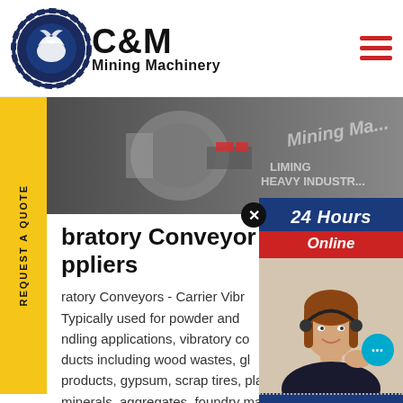[Figure (logo): C&M Mining Machinery logo with eagle in gear circle, dark navy blue]
[Figure (photo): Mining machinery equipment photo used as hero banner]
REQUEST A QUOTE
bratory Conveyor Man pliers
ratory Conveyors - Carrier Vibr Typically used for powder and ndling applications, vibratory co ducts including wood wastes, gl products, gypsum, scrap tires, plas minerals, aggregates, foundry mat
[Figure (infographic): 24 Hours Online chat panel with customer service agent photo, Click to Chat button, and Enquiry section]